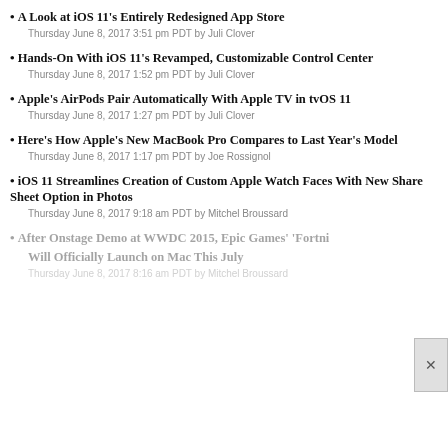A Look at iOS 11's Entirely Redesigned App Store
Thursday June 8, 2017 3:51 pm PDT by Juli Clover
Hands-On With iOS 11's Revamped, Customizable Control Center
Thursday June 8, 2017 1:52 pm PDT by Juli Clover
Apple's AirPods Pair Automatically With Apple TV in tvOS 11
Thursday June 8, 2017 1:27 pm PDT by Juli Clover
Here's How Apple's New MacBook Pro Compares to Last Year's Model
Thursday June 8, 2017 1:17 pm PDT by Joe Rossignol
iOS 11 Streamlines Creation of Custom Apple Watch Faces With New Share Sheet Option in Photos
Thursday June 8, 2017 9:18 am PDT by Mitchel Broussard
After Onstage Demo at WWDC 2015, Epic Games' 'Fortnite' Will Officially Launch on Mac This July
Thursday June 8, 2017 8:16 am PDT by Mitchel Broussard